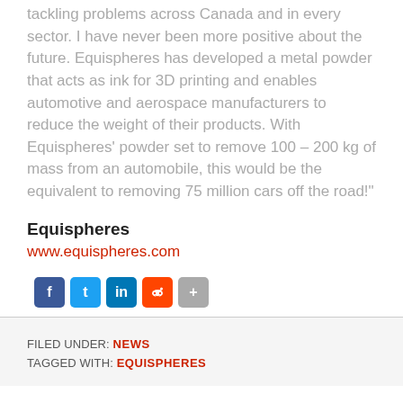tackling problems across Canada and in every sector. I have never been more positive about the future. Equispheres has developed a metal powder that acts as ink for 3D printing and enables automotive and aerospace manufacturers to reduce the weight of their products. With Equispheres' powder set to remove 100 – 200 kg of mass from an automobile, this would be the equivalent to removing 75 million cars off the road!"
Equispheres
www.equispheres.com
[Figure (other): Social media share icons: Facebook, Twitter, LinkedIn, Reddit, Share]
FILED UNDER: NEWS
TAGGED WITH: EQUISPHERES